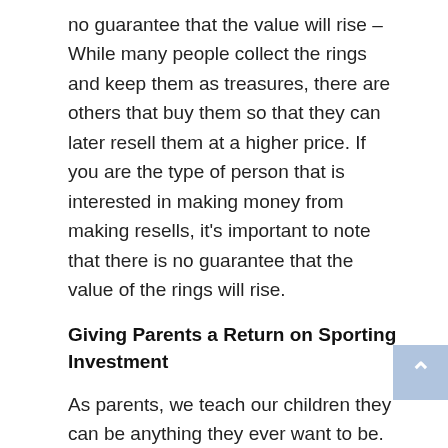no guarantee that the value will rise – While many people collect the rings and keep them as treasures, there are others that buy them so that they can later resell them at a higher price. If you are the type of person that is interested in making money from making resells, it's important to note that there is no guarantee that the value of the rings will rise.
Giving Parents a Return on Sporting Investment
As parents, we teach our children they can be anything they ever want to be. However, some overzealous parents are, or are on the cusp of looking at their child as a financial investment on which they must get good returns.
Tags: 1 IN A MILLION, clips, COMPILATION, divertente, drôle, EMBARRASSING MOMENTS, engraçado, entertainement, epic fails, football, funny sports, hyperloop, in sports, like a boss, lucu, lustige, momen olahraga, momenti sportivi,